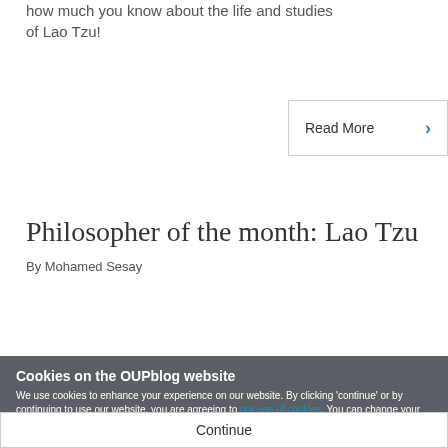how much you know about the life and studies of Lao Tzu!
Read More
Philosopher of the month: Lao Tzu
By Mohamed Sesay
Cookies on the OUPblog website
We use cookies to enhance your experience on our website. By clicking 'continue' or by continuing to use our website, you are agreeing to our use of cookies. You can change your cookie settings at any time.
Continue